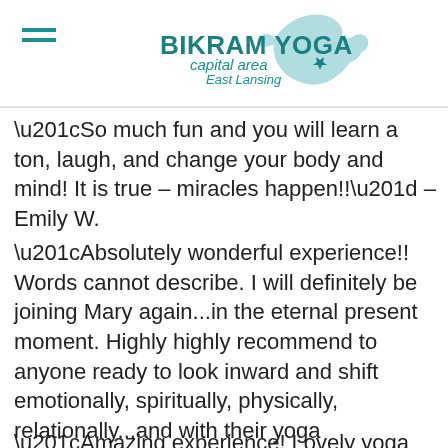BIKRAM YOGA capital area East Lansing
“So much fun and you will learn a ton, laugh, and change your body and mind! It is true – miracles happen!!” – Emily W.
“Absolutely wonderful experience!! Words cannot describe. I will definitely be joining Mary again...in the eternal present moment. Highly highly recommend to anyone ready to look inward and shift emotionally, spiritually, physically, relationally...and with their yoga practice.” Ali H.
“Amazing experience! Lovely yoga practitioners